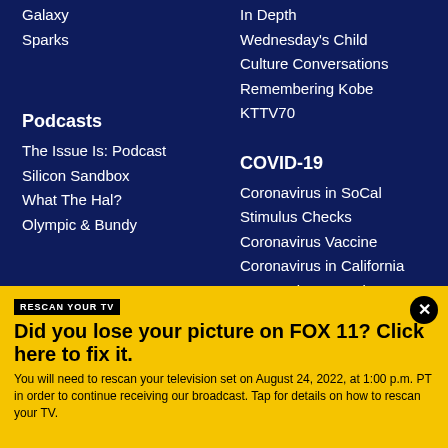Galaxy
Sparks
In Depth
Wednesday's Child
Culture Conversations
Remembering Kobe
KTTV70
Podcasts
The Issue Is: Podcast
Silicon Sandbox
What The Hal?
Olympic & Bundy
COVID-19
Coronavirus in SoCal
Stimulus Checks
Coronavirus Vaccine
Coronavirus in California
Coronavirus Interviews
RESCAN YOUR TV
Did you lose your picture on FOX 11? Click here to fix it.
You will need to rescan your television set on August 24, 2022, at 1:00 p.m. PT in order to continue receiving our broadcast. Tap for details on how to rescan your TV.